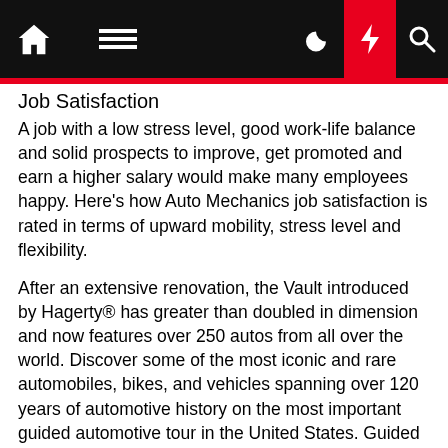Navigation bar with home, menu, moon, flash, search icons
Job Satisfaction
A job with a low stress level, good work-life balance and solid prospects to improve, get promoted and earn a higher salary would make many employees happy. Here's how Auto Mechanics job satisfaction is rated in terms of upward mobility, stress level and flexibility.
After an extensive renovation, the Vault introduced by Hagerty® has greater than doubled in dimension and now features over 250 autos from all over the world. Discover some of the most iconic and rare automobiles, bikes, and vehicles spanning over 120 years of automotive history on the most important guided automotive tour in the United States. Guided excursions traverse the globe, featuring autos from 6 different areas, and provide an immersive